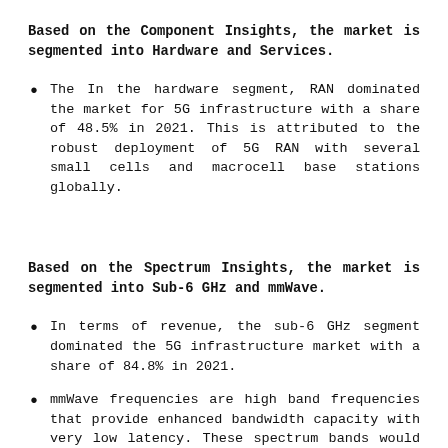Based on the Component Insights, the market is segmented into Hardware and Services.
The In the hardware segment, RAN dominated the market for 5G infrastructure with a share of 48.5% in 2021. This is attributed to the robust deployment of 5G RAN with several small cells and macrocell base stations globally.
Based on the Spectrum Insights, the market is segmented into Sub-6 GHz and mmWave.
In terms of revenue, the sub-6 GHz segment dominated the 5G infrastructure market with a share of 84.8% in 2021.
mmWave frequencies are high band frequencies that provide enhanced bandwidth capacity with very low latency. These spectrum bands would be mainly helpful in